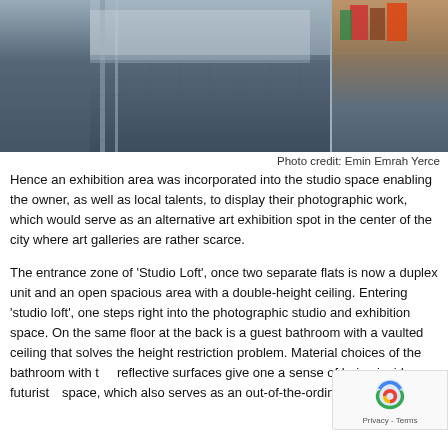[Figure (photo): Interior architectural photo showing a modern studio loft with stairs, metal mesh flooring, and a bookshelf visible on the right side]
Photo credit: Emin Emrah Yerce
Hence an exhibition area was incorporated into the studio space enabling the owner, as well as local talents, to display their photographic work, which would serve as an alternative art exhibition spot in the center of the city where art galleries are rather scarce.
The entrance zone of 'Studio Loft', once two separate flats is now a duplex unit and an open spacious area with a double-height ceiling. Entering 'studio loft', one steps right into the photographic studio and exhibition space. On the same floor at the back is a guest bathroom with a vaulted ceiling that solves the height restriction problem. Material choices of the bathroom with the reflective surfaces give one a sense of being inside a futuristic space, which also serves as an out-of-the-ordinary photography